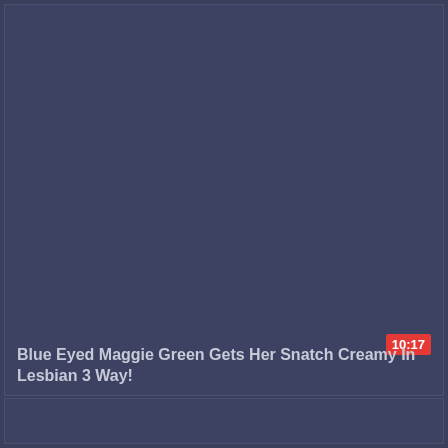[Figure (screenshot): Video thumbnail card with dark blue-grey background, showing a duration badge of 10:17 in red, and a video title below.]
10:17
Blue Eyed Maggie Green Gets Her Snatch Creamy In Lesbian 3 Way!